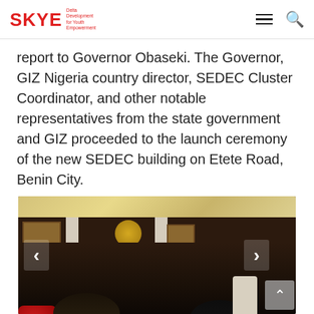SKYE
report to Governor Obaseki. The Governor, GIZ Nigeria country director, SEDEC Cluster Coordinator, and other notable representatives from the state government and GIZ proceeded to the launch ceremony of the new SEDEC building on Etete Road, Benin City.
[Figure (photo): Photo of people in a formal government office setting. A man seated at a desk signing documents, another person across from him, a standing person in the background, portraits on the wall, and a national emblem above the desk. Dark wood panelling on walls with marble ceiling.]